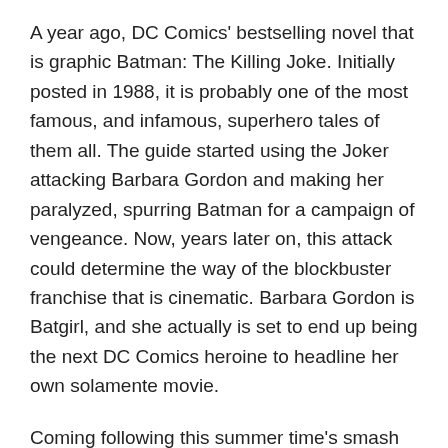A year ago, DC Comics' bestselling novel that is graphic Batman: The Killing Joke. Initially posted in 1988, it is probably one of the most famous, and infamous, superhero tales of them all. The guide started using the Joker attacking Barbara Gordon and making her paralyzed, spurring Batman for a campaign of vengeance. Now, years later on, this attack could determine the way of the blockbuster franchise that is cinematic. Barbara Gordon is Batgirl, and she actually is set to end up being the next DC Comics heroine to headline her own solamente movie.
Coming following this summer time's smash hit Wonder Woman, Batgirl is poised in order to make a statement that is powerful the part of females in superhero news. Director Patty Jenkins' Wonder lady had been a commercial and critical success for Warner Bros. to some extent as it abandoned the bleak tone of its moody, male-led predecessors within the DC cinematic superhero world, presenting a compassionate, effective heroine that has